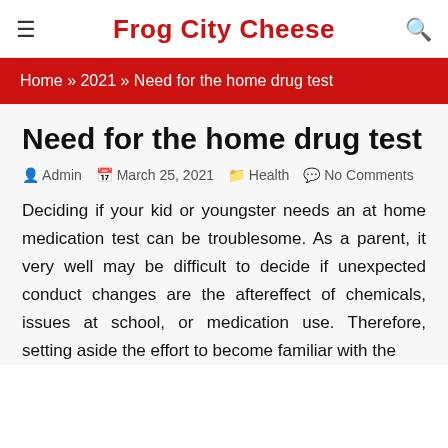Frog City Cheese
Home » 2021 » Need for the home drug test
Need for the home drug test
Admin   March 25, 2021   Health   No Comments
Deciding if your kid or youngster needs an at home medication test can be troublesome. As a parent, it very well may be difficult to decide if unexpected conduct changes are the aftereffect of chemicals, issues at school, or medication use. Therefore, setting aside the effort to become familiar with the